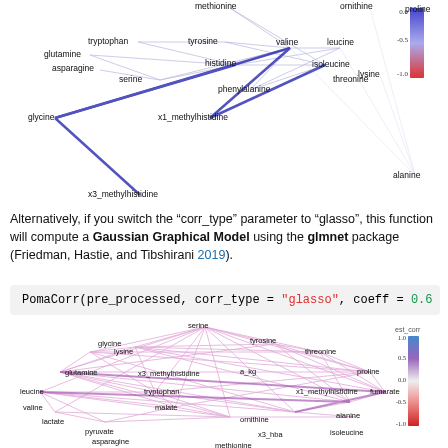[Figure (network-graph): Network graph showing correlations between amino acids (serine, methionine, tryptophan, tyrosine, valine, ornithine, leucine, isoleucine, threonine, proline, lysine, glutamine, asparagine, histidine, phenylalanine, glycine, x1_methylhistidine, alanine, x3_methylhistidine) with blue/red edge coloring representing positive/negative correlations. Color legend shows est_corr scale from -1.0 to 0.0.]
Alternatively, if you switch the “corr_type” parameter to “glasso”, this function will compute a Gaussian Graphical Model using the glmnet package (Friedman, Hastie, and Tibshirani 2019).
PomaCorr(pre_processed, corr_type = "glasso", coeff = 0.6
[Figure (network-graph): Dense network graph (Gaussian Graphical Model using glasso) showing correlations between metabolites: serine, glycine, tyrosine, lysine, threonine, glutamine, x3_methylhistidine, a_kg, proline, leucine, tryptophan, x1_methylhistidine, malate, fumarate, valine, pyruvate, ornithine, alanine, lactate, x3_hba, asparagine, isoleucine, methionine. Edges are purple/pink colored. Color legend shows est_corr scale with blue=1.0, purple=0.5, white=0.0, pink=-0.5, red=-1.0.]